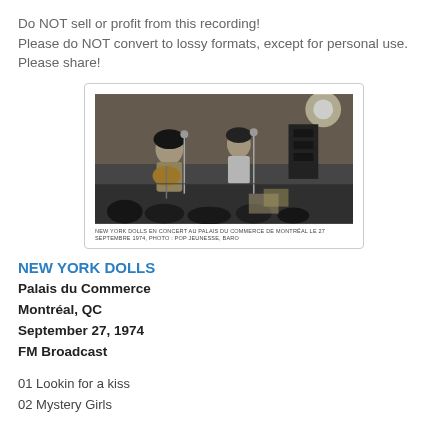Do NOT sell or profit from this recording!
Please do NOT convert to lossy formats, except for personal use.
Please share!
[Figure (photo): Black and white photo of New York Dolls performing in concert at Palais du Commerce de Montréal, September 27, 1974. Two performers on stage with instruments and microphones, audience visible in foreground.]
NEW YORK DOLLS EN CONCERT AU PALAIS DU COMMERCE DE MONTRÉAL LE 27 SEPTEMBRE 1974, PHOTO : POP JEUNESSE, BARO
NEW YORK DOLLS
Palais du Commerce
Montréal, QC
September 27, 1974
FM Broadcast
01 Lookin for a kiss
02 Mystery Girls